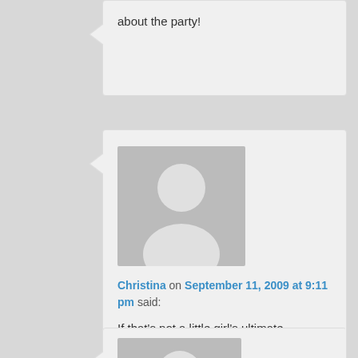about the party!
[Figure (illustration): User avatar placeholder silhouette (grey background with white person icon)]
Christina on September 11, 2009 at 9:11 pm said:
If that's not a little girl's ultimate birthday, I don't know what is! She knows how to work it. Love the goat photoshoot – can almost hear her directing from here! Do we get to see her photos?

P.S. Her shoes are too cute!
[Figure (illustration): User avatar placeholder silhouette (grey background with white person icon) - partial, bottom of page]